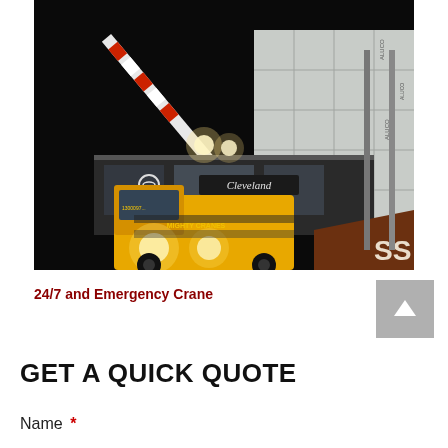[Figure (photo): Nighttime photo of a yellow crane truck (Mighty Cranes) operating in front of a Cleveland car dealership. The crane arm extends diagonally upward with red and white striped markings. Bright work lights illuminate the scene. Construction materials and scaffolding visible on the right side. A brown banner with 'SS' logo visible at lower right.]
24/7 and Emergency Crane
GET A QUICK QUOTE
Name *